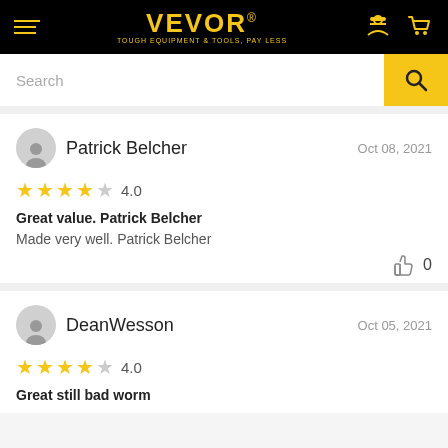[Figure (logo): VEVOR logo with tagline TOUGH EQUIPMENT & TOOLS, PAY LESS on black header with hamburger menu, user icon, and cart icon]
Search
Patrick Belcher   Oct 08, 2021
★★★★☆ 4.0
Great value. Patrick Belcher
Made very well. Patrick Belcher
👍 0
DeanWesson   Oct 05, 2021
★★★★☆ 4.0
Great still bad worm